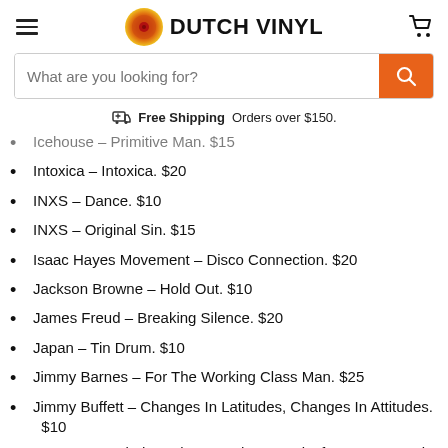DUTCH VINYL
What are you looking for?
Free Shipping Orders over $150.
Icehouse – Primitive Man. $15
Intoxica – Intoxica. $20
INXS – Dance. $10
INXS – Original Sin. $15
Isaac Hayes Movement – Disco Connection. $20
Jackson Browne – Hold Out. $10
James Freud – Breaking Silence. $20
Japan – Tin Drum. $10
Jimmy Barnes – For The Working Class Man. $25
Jimmy Buffett – Changes In Latitudes, Changes In Attitudes. $10
Jo Jo Zep And The Falcons – The Sound Of Jo Jo Zep And The Falcons. $15